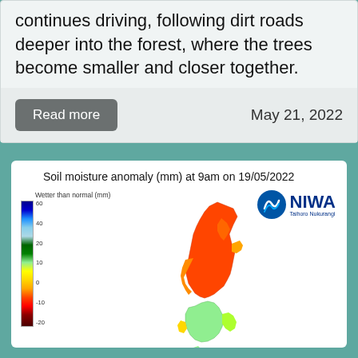continues driving, following dirt roads deeper into the forest, where the trees become smaller and closer together.
Read more
May 21, 2022
[Figure (map): Soil moisture anomaly map of New Zealand (mm) at 9am on 19/05/2022, showing color-coded moisture levels from dark blue (wetter than normal, 60mm) through greens and yellows to dark red (drier than normal, -20mm). The map shows the North Island is predominantly orange-red (drier than normal) while the South Island shows green-yellow tones. NIWA branding logo in top right.]